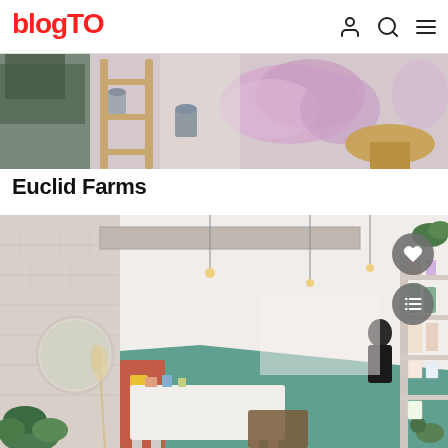blogTO
[Figure (photo): Partial top image showing a flower shop with pink/purple dried flowers, wooden shelving, and floral arrangements on a light background]
Euclid Farms
[Figure (photo): Interior of Euclid Farms shop showing a long narrow space with exposed brick walls, teal/green floor, hanging pendant lights, white shelving with plants and products, a round mirror, and various home goods for sale. A person in dark clothing is visible in the background. Floating action buttons (heart and list) are overlaid on the right side.]